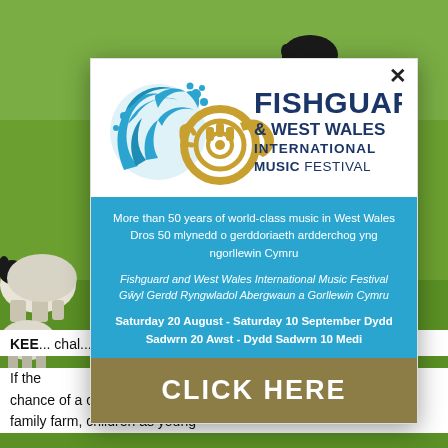[Figure (photo): Background photo showing green field with black calf at top and sheep on the left side]
[Figure (logo): Fishguard & West Wales International Music Festival logo with blue wave/leaf design and gold French horn]
More than 50 years of world-class music in West Wales
Dros 50 mlynedd o gerddoriaeth ardderchog yng ngorllewin Cymru
Fishguard and West Wales International Music Festival
Gŵyl Gerdd Ryngwladol Abergwaun a Gorllewin Cymru
Saturday 20 August - Saturday 10 September Dydd Sadwrn 20 Awst - Dydd Sadwrn 10 Medi
CLICK HERE
KEEP... challenging... arguing... running...
If the... here would be little chance of a child wielding a scalpel or shingling a roof. But on a family farm, children as young as 12 years old are driving quads and tractors and doing...